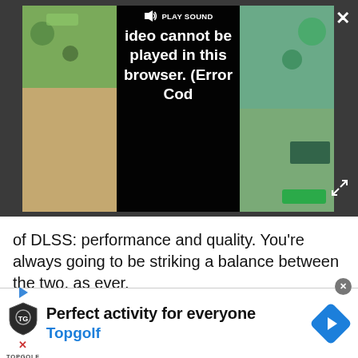[Figure (screenshot): Video player overlay showing a game video with a dark error message in the center reading 'PLAY SOUND Video cannot be played in this browser. (Error Cod'. Game screenshots visible on left and right sides. Close (X) button top right, expand button bottom right.]
of DLSS: performance and quality. You're always going to be striking a balance between the two, as ever.
Advertisement
[Figure (screenshot): Advertisement banner for Topgolf showing shield logo, play/X icons, text 'Perfect activity for everyone' and 'Topgolf' in blue, with a blue diamond directions icon on the right. Close circle button top right.]